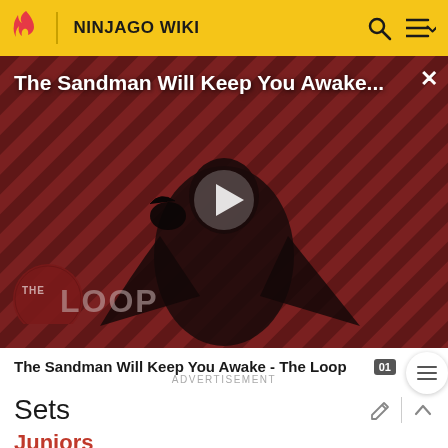NINJAGO WIKI
[Figure (screenshot): Video thumbnail with diagonal red/dark striped background showing a figure in black robes holding a bird. Title overlay reads 'The Sandman Will Keep You Awake...' with The Loop branding logo at bottom left and a play button in center.]
The Sandman Will Keep You Awake - The Loop
ADVERTISEMENT
Sets
Juniors